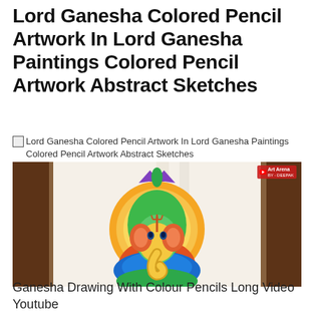Lord Ganesha Colored Pencil Artwork In Lord Ganesha Paintings Colored Pencil Artwork Abstract Sketches
[Figure (illustration): Colored pencil artwork of Lord Ganesha showing the elephant deity with a green head, trishul marking on forehead, orange circular halo background, blue lotus base, red and green body, purple lotus crown on top. The artwork is set on a white paper against a dark brown wooden easel/background. 'Art Arena by Deepak' watermark in the top right corner.]
Ganesha Drawing With Colour Pencils Long Video Youtube